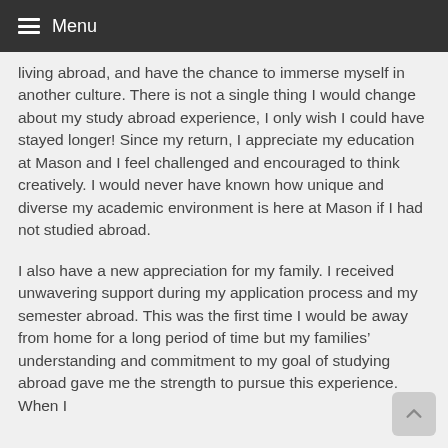Menu
living abroad, and have the chance to immerse myself in another culture. There is not a single thing I would change about my study abroad experience, I only wish I could have stayed longer! Since my return, I appreciate my education at Mason and I feel challenged and encouraged to think creatively. I would never have known how unique and diverse my academic environment is here at Mason if I had not studied abroad.
I also have a new appreciation for my family. I received unwavering support during my application process and my semester abroad. This was the first time I would be away from home for a long period of time but my families’ understanding and commitment to my goal of studying abroad gave me the strength to pursue this experience. When I